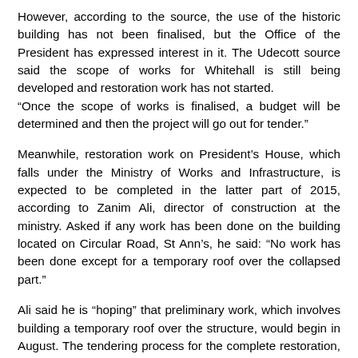However, according to the source, the use of the historic building has not been finalised, but the Office of the President has expressed interest in it. The Udecott source said the scope of works for Whitehall is still being developed and restoration work has not started. “Once the scope of works is finalised, a budget will be determined and then the project will go out for tender.”
Meanwhile, restoration work on President’s House, which falls under the Ministry of Works and Infrastructure, is expected to be completed in the latter part of 2015, according to Zanim Ali, director of construction at the ministry. Asked if any work has been done on the building located on Circular Road, St Ann’s, he said: “No work has been done except for a temporary roof over the collapsed part.”
Ali said he is “hoping” that preliminary work, which involves building a temporary roof over the structure, would begin in August. The tendering process for the complete restoration, he said, would begin in November. According to a T&T